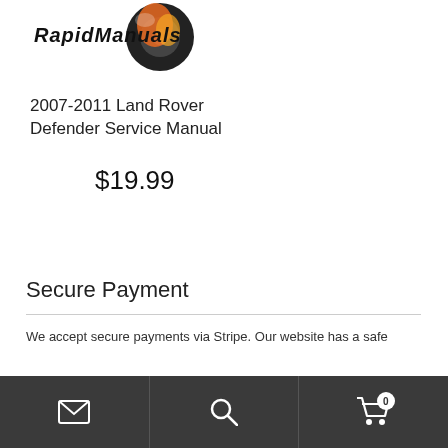[Figure (logo): RapidManuals logo with stylized text and motorcycle wheel graphic]
2007-2011 Land Rover Defender Service Manual
$19.99
Secure Payment
We accept secure payments via Stripe. Our website has a safe
Navigation bar with mail, search, and cart (0) icons